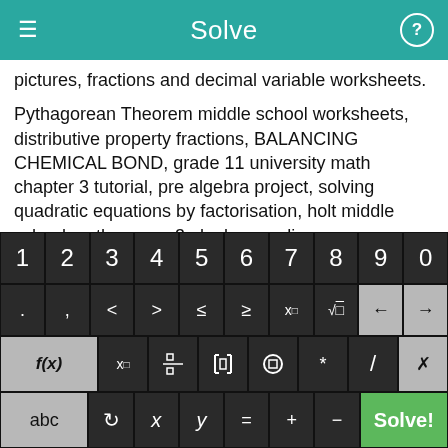Solve
pictures, fractions and decimal variable worksheets.
Pythagorean Theorem middle school worksheets, distributive property fractions, BALANCING CHEMICAL BOND, grade 11 university math chapter 3 tutorial, pre algebra project, solving quadratic equations by factorisation, holt middle school math course 3 algebra readiness.
Geometry chapter 6 resource book answers, compound inequalities solver automatic, trigonometric practise for
[Figure (screenshot): On-screen math keyboard with rows: digits 1-0, symbols (. , < > ≤ ≥ x^□ √□ backspace arrows), function keys (f(x) x□ fraction absolute-value parentheses * / backspace), and bottom row (abc ↺ x y = + − Solve! button)]